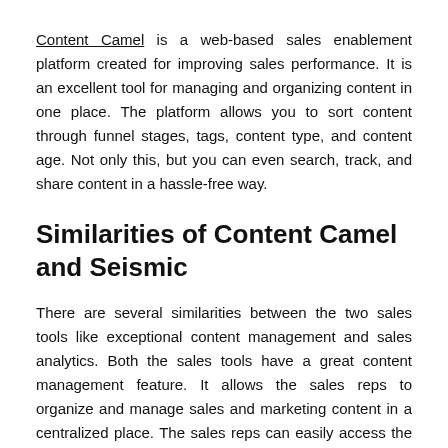Content Camel is a web-based sales enablement platform created for improving sales performance. It is an excellent tool for managing and organizing content in one place. The platform allows you to sort content through funnel stages, tags, content type, and content age. Not only this, but you can even search, track, and share content in a hassle-free way.
Similarities of Content Camel and Seismic
There are several similarities between the two sales tools like exceptional content management and sales analytics. Both the sales tools have a great content management feature. It allows the sales reps to organize and manage sales and marketing content in a centralized place. The sales reps can easily access the information when closing a deal. It results in making a successful deal and spends more time selling rather